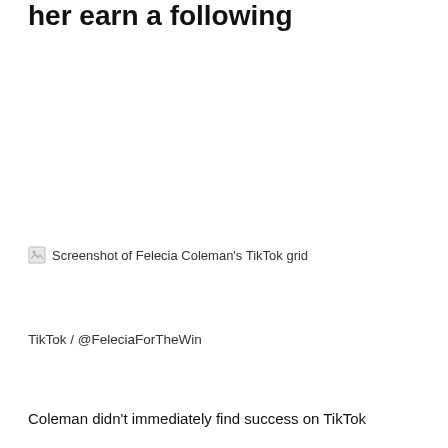her earn a following
[Figure (screenshot): Screenshot of Felecia Coleman's TikTok grid]
TikTok / @FeleciaForTheWin
Coleman didn't immediately find success on TikTok